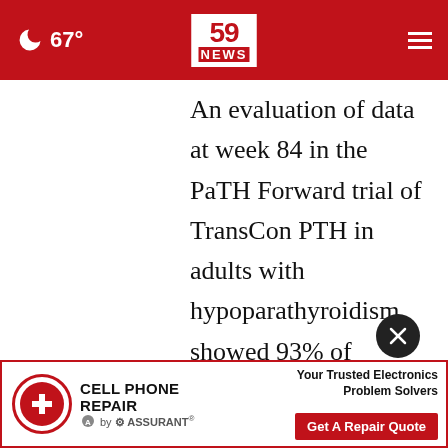67° | 59 NEWS
An evaluation of data at week 84 in the PaTH Forward trial of TransCon PTH in adults with hypoparathyroidism showed 93% of participants achieving continued independence from conventional therapy with maintenance of mean serum calcium (sCa) and 24-hour
[Figure (other): Advertisement banner for Cell Phone Repair by Assurant with CPR logo, tagline 'Your Trusted Electronics Problem Solvers', and 'Get A Repair Quote' CTA button in red]